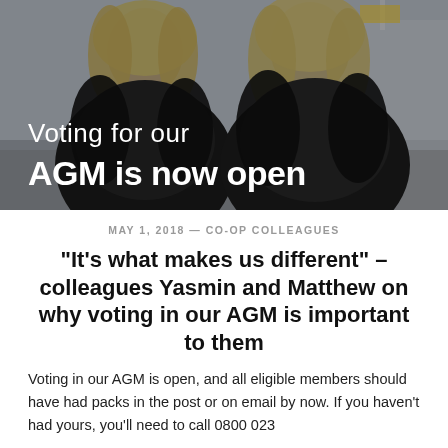[Figure (photo): Two people wearing black fur coats photographed in front of a building. Overlaid text reads 'Voting for our AGM is now open' in white sans-serif font.]
MAY 1, 2018 — CO-OP COLLEAGUES
“It’s what makes us different” – colleagues Yasmin and Matthew on why voting in our AGM is important to them
Voting in our AGM is open, and all eligible members should have had packs in the post or on email by now. If you haven’t had yours, you’ll need to call 0800 023